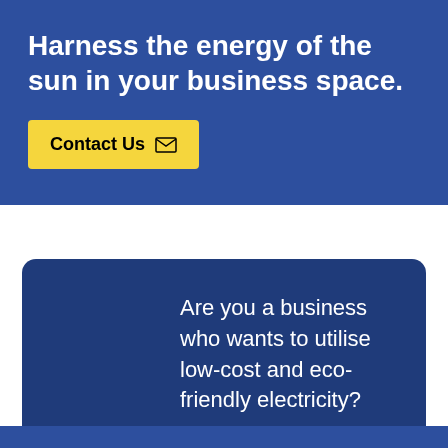Harness the energy of the sun in your business space.
Contact Us
Are you a business who wants to utilise low-cost and eco-friendly electricity?